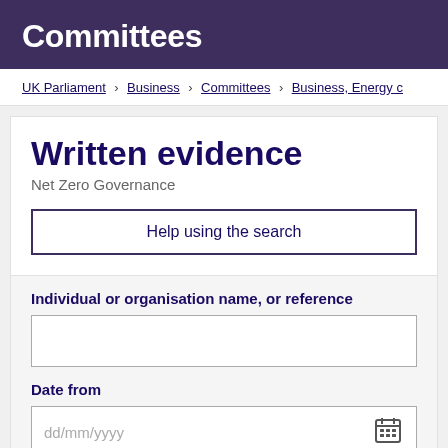Committees
UK Parliament > Business > Committees > Business, Energy c
Written evidence
Net Zero Governance
Help using the search
Individual or organisation name, or reference
Date from